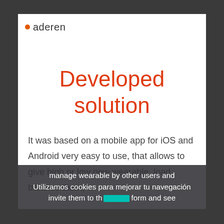aderen
Developed solution
It was based on a mobile app for iOS and Android very easy to use, that allows to give high or low new wearable, load balance them,
manage wearable by other users and
Utilizamos cookies para mejorar tu navegación
invite them to th platform and see